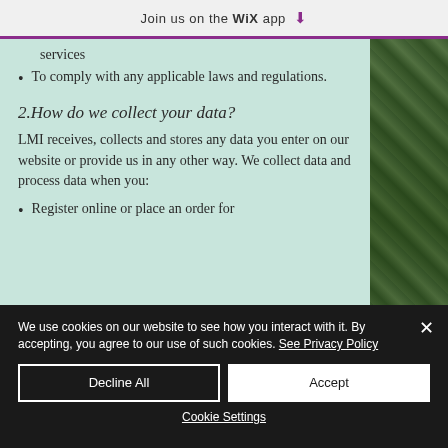Join us on the WiX app ↓
services
To comply with any applicable laws and regulations.
2.How do we collect your data?
LMI receives, collects and stores any data you enter on our website or provide us in any other way. We collect data and process data when you:
Register online or place an order for
We use cookies on our website to see how you interact with it. By accepting, you agree to our use of such cookies. See Privacy Policy
Decline All
Accept
Cookie Settings